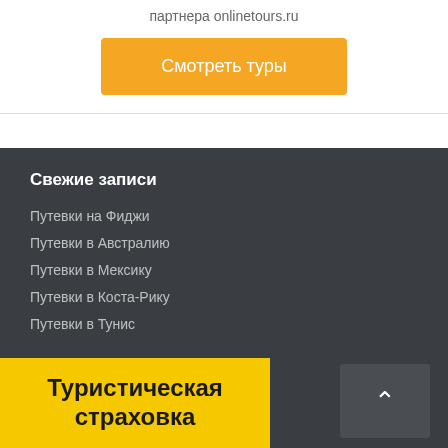партнера onlinetours.ru
Смотреть туры
Свежие записи
Путевки на Фиджи
Путевки в Австралию
Путевки в Мексику
Путевки в Коста-Рику
Путевки в Тунис
Туристическая страховка